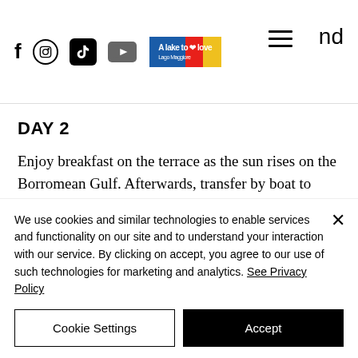[Figure (screenshot): Navigation bar with social media icons (Facebook, Instagram, TikTok, YouTube), 'A lake to love – Lago Maggiore' logo, hamburger menu icon, and partial text 'nd']
DAY 2
Enjoy breakfast on the terrace as the sun rises on the Borromean Gulf. Afterwards, transfer by boat to Isola Madre for a visit of the palace and
We use cookies and similar technologies to enable services and functionality on our site and to understand your interaction with our service. By clicking on accept, you agree to our use of such technologies for marketing and analytics. See Privacy Policy
Cookie Settings
Accept